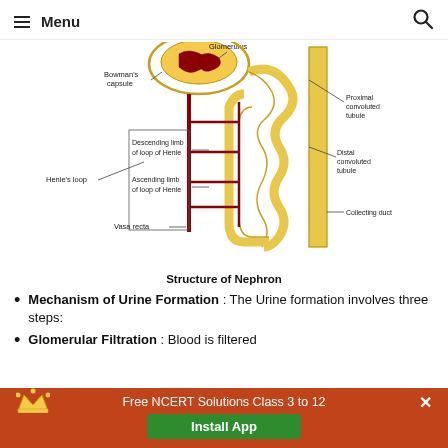Menu
[Figure (engineering-diagram): Diagram of the Structure of Nephron showing Glomerulus, Bowman's capsule, Proximal convoluted tubule, Distal convoluted tubule, Henle's loop (Descending limb of loop of Henle, Ascending limb of loop of Henle), Vasa recta, and Collecting duct.]
Structure of Nephron
Mechanism of Urine Formation : The Urine formation involves three steps:
Glomerular Filtration : Blood is filtered from the glomerulus into Bow...